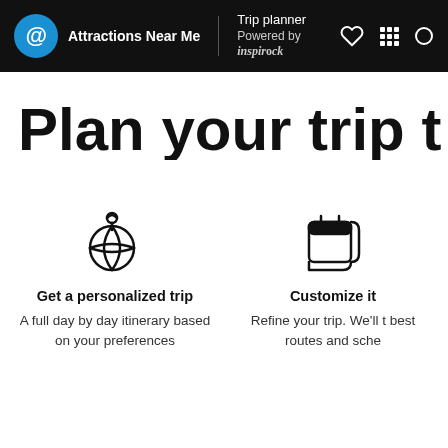Attractions Near Me | Trip planner Powered by inspirock
Plan your trip t
[Figure (illustration): Globe with a location pin icon, outline style]
Get a personalized trip
A full day by day itinerary based on your preferences
[Figure (illustration): Calendar icon, outline style]
Customize it
Refine your trip. We'll t best routes and sche